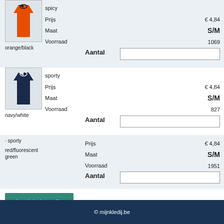[Figure (photo): Orange/black sports tank top]
spicy
orange/black
Prijs € 4,84
Maat S/M
Voorraad 1069
Aantal
[Figure (photo): Navy/white sports tank top]
sporty
navy/white
Prijs € 4,84
Maat S/M
Voorraad 827
Aantal
sporty
red/fluorescent green
Prijs € 4,84
Maat S/M
Voorraad 1951
Aantal
In winkelmandje
© mijnkledij.be